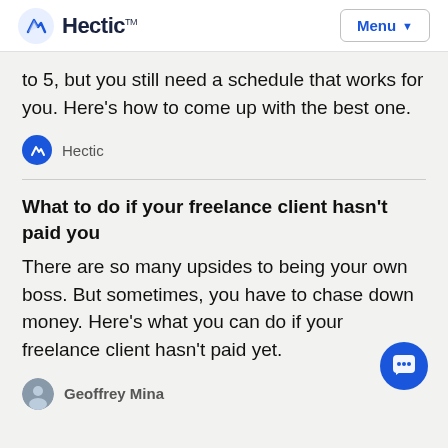Hectic™  Menu
to 5, but you still need a schedule that works for you. Here's how to come up with the best one.
Hectic
What to do if your freelance client hasn't paid you
There are so many upsides to being your own boss. But sometimes, you have to chase down money. Here's what you can do if your freelance client hasn't paid yet.
Geoffrey Mina